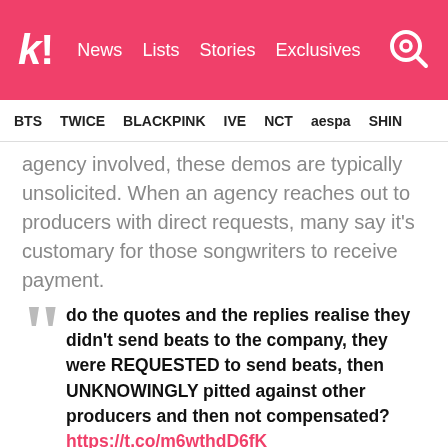k! News Lists Stories Exclusives [search icon]
BTS TWICE BLACKPINK IVE NCT aespa SHIN
agency involved, these demos are typically unsolicited. When an agency reaches out to producers with direct requests, many say it's customary for those songwriters to receive payment.
do the quotes and the replies realise they didn't send beats to the company, they were REQUESTED to send beats, then UNKNOWINGLY pitted against other producers and then not compensated? https://t.co/m6wthdD6fK